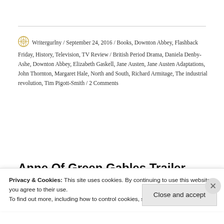Writergurlny / September 24, 2016 / Books, Downton Abbey, Flashback Friday, History, Television, TV Review / British Period Drama, Daniela Denby-Ashe, Downton Abbey, Elizabeth Gaskell, Jane Austen, Jane Austen Adaptations, John Thornton, Margaret Hale, North and South, Richard Armitage, The industrial revolution, Tim Pigott-Smith / 2 Comments
Anne Of Green Gables Trailer
Privacy & Cookies: This site uses cookies. By continuing to use this website, you agree to their use. To find out more, including how to control cookies, see here: Cookie Policy